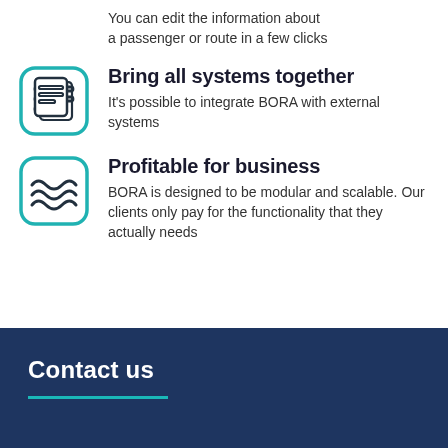You can edit the information about a passenger or route in a few clicks
[Figure (illustration): Teal rounded square icon with stacked lines/document icon]
Bring all systems together
It's possible to integrate BORA with external systems
[Figure (illustration): Teal rounded square icon with waves/ocean icon]
Profitable for business
BORA is designed to be modular and scalable. Our clients only pay for the functionality that they actually needs
Contact us